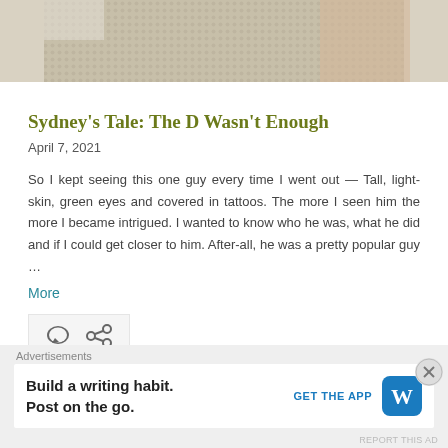[Figure (photo): Cropped photo of a person wearing a knitted beige/tan mesh top, partial view of torso and arm]
Sydney’s Tale: The D Wasn't Enough
April 7, 2021
So I kept seeing this one guy every time I went out — Tall, light-skin, green eyes and covered in tattoos. The more I seen him the more I became intrigued. I wanted to know who he was, what he did and if I could get closer to him. After-all, he was a pretty popular guy …
More
[Figure (screenshot): Icon bar with comment bubble and share/link icon]
Advertisements
Build a writing habit. Post on the go. GET THE APP